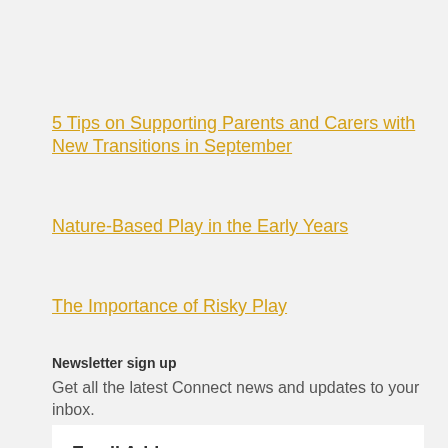5 Tips on Supporting Parents and Carers with New Transitions in September
Nature-Based Play in the Early Years
The Importance of Risky Play
Newsletter sign up
Get all the latest Connect news and updates to your inbox.
Email Address